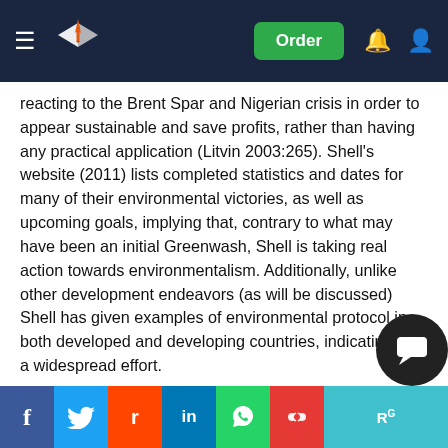Navigation bar with logo, Order button, notification and account icons
reacting to the Brent Spar and Nigerian crisis in order to appear sustainable and save profits, rather than having any practical application (Litvin 2003:265). Shell's website (2011) lists completed statistics and dates for many of their environmental victories, as well as upcoming goals, implying that, contrary to what may have been an initial Greenwash, Shell is taking real action towards environmentalism. Additionally, unlike other development endeavors (as will be discussed) Shell has given examples of environmental protocol in both developed and developing countries, indicating it is a widespread effort.
As noted earlier, human rights were added to Shell's general policies in 1997. However, and firstly, human protocols are largely reactive to the Ogoni case. For example, on Shell's website (2011) it states that 'We aim to create a world ... and ... make best
Social share bar: Facebook, Twitter, Reddit, LinkedIn, WhatsApp, Mendeley, ResearchGate